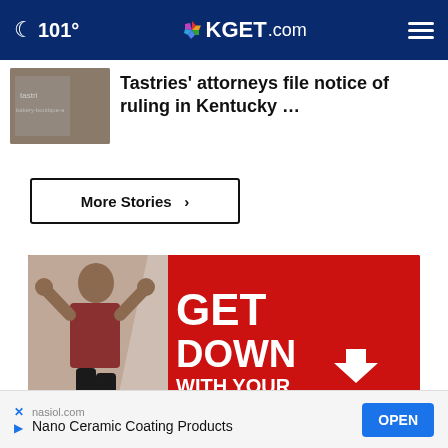101° KGET.com
Tastries' attorneys file notice of ruling in Kentucky …
More Stories ›
[Figure (photo): Advertisement: GET DOWN WITH YOUR BLOOD PRESSURE - woman flexing on red background]
nasiol.com Nano Ceramic Coating Products OPEN